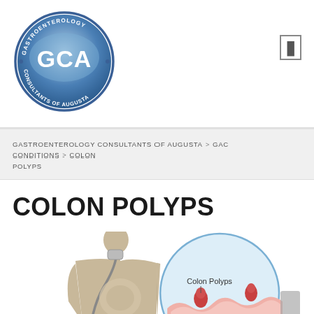[Figure (logo): GCA - Gastroenterology Consultants of Augusta oval blue logo with large GCA letters in center]
GASTROENTEROLOGY CONSULTANTS OF AUGUSTA > GAC CONDITIONS > COLON POLYPS
COLON POLYPS
[Figure (illustration): Medical illustration showing a human body silhouette with a colonoscopy scope inserted, alongside a circular inset diagram labeled 'Colon Polyps' showing a cross-section of colon tissue with pink polyp growths]